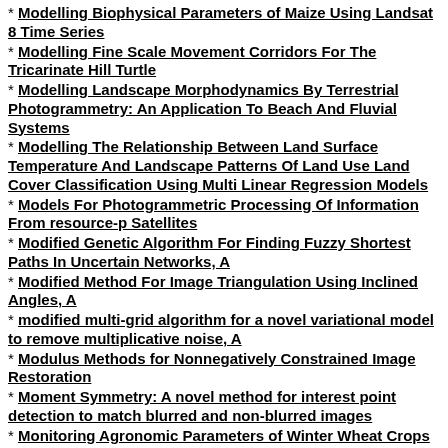Modelling Biophysical Parameters of Maize Using Landsat 8 Time Series
Modelling Fine Scale Movement Corridors For The Tricarinate Hill Turtle
Modelling Landscape Morphodynamics By Terrestrial Photogrammetry: An Application To Beach And Fluvial Systems
Modelling The Relationship Between Land Surface Temperature And Landscape Patterns Of Land Use Land Cover Classification Using Multi Linear Regression Models
Models For Photogrammetric Processing Of Information From resource-p Satellites
Modified Genetic Algorithm For Finding Fuzzy Shortest Paths In Uncertain Networks, A
Modified Method For Image Triangulation Using Inclined Angles, A
modified multi-grid algorithm for a novel variational model to remove multiplicative noise, A
Modulus Methods for Nonnegatively Constrained Image Restoration
Moment Symmetry: A novel method for interest point detection to match blurred and non-blurred images
Monitoring Agronomic Parameters of Winter Wheat Crops with Low-Cost UAV Imagery
Monitoring And Deformation Analysis Of Groynes Using